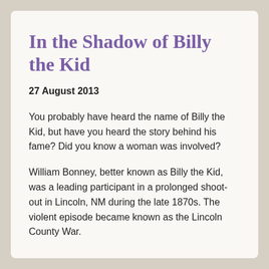In the Shadow of Billy the Kid
27 August 2013
You probably have heard the name of Billy the Kid, but have you heard the story behind his fame? Did you know a woman was involved?
William Bonney, better known as Billy the Kid, was a leading participant in a prolonged shoot-out in Lincoln, NM during the late 1870s. The violent episode became known as the Lincoln County War.